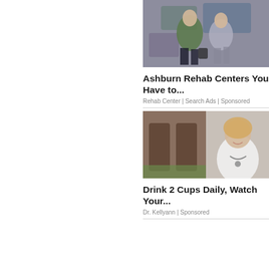[Figure (photo): Two young women sitting against a graffiti-covered brick wall, one in a green jacket, one in grey patterned pants.]
Ashburn Rehab Centers You Have to...
Rehab Center | Search Ads | Sponsored
[Figure (photo): Composite image: woman in white doctor coat with stethoscope smiling, alongside legs of someone exercising outdoors.]
Drink 2 Cups Daily, Watch Your...
Dr. Kellyann | Sponsored